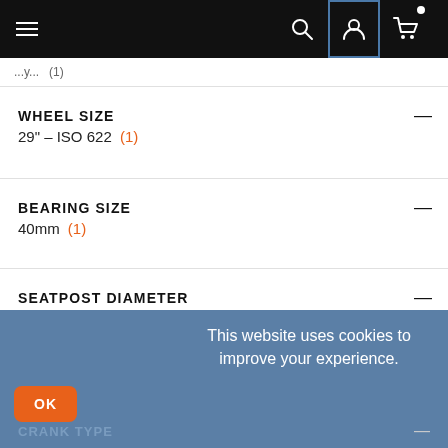Navigation bar with hamburger menu, search, account, and cart icons
WHEEL SIZE
29" - ISO 622 (1)
BEARING SIZE
40mm (1)
SEATPOST DIAMETER
25.4mm (1)
CRANK TYPE
This website uses cookies to improve your experience.